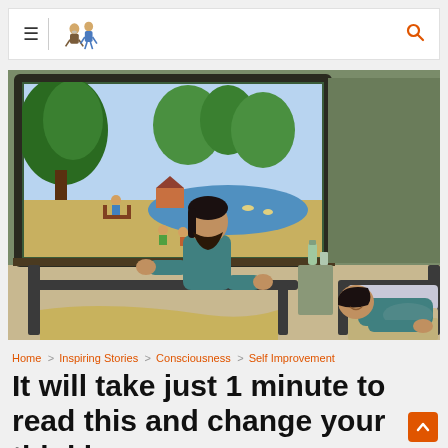≡ | [logo figures] 🔍
[Figure (illustration): Illustration of two men in hospital-style beds in a room with an olive-green wall. The man in the left bed (wearing a teal shirt) is sitting up, leaning forward and looking out a large window. Through the window is a vivid outdoor scene showing trees, a river or lake, children playing near the water, and a person sitting on a bench. The man in the right bed is lying down, wearing a teal shirt, appearing to listen or look toward the other man.]
Home > Inspiring Stories > Consciousness > Self Improvement
It will take just 1 minute to read this and change your thinking.